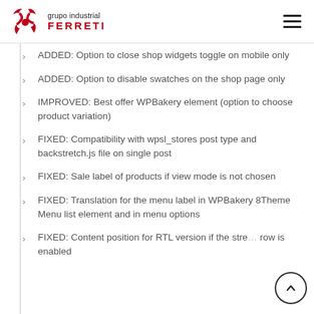grupo industrial FERRETI
ADDED: Option to close shop widgets toggle on mobile only
ADDED: Option to disable swatches on the shop page only
IMPROVED: Best offer WPBakery element (option to choose product variation)
FIXED: Compatibility with wpsl_stores post type and backstretch.js file on single post
FIXED: Sale label of products if view mode is not chosen
FIXED: Translation for the menu label in WPBakery 8Theme Menu list element and in menu options
FIXED: Content position for RTL version if the stretch row is enabled